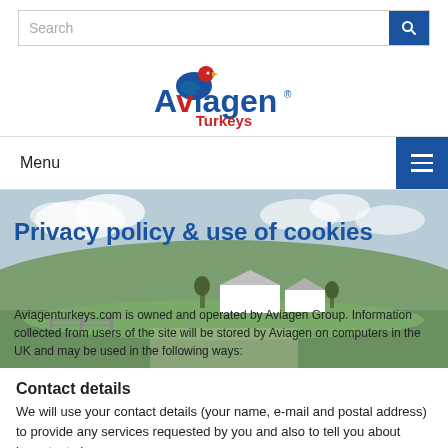Search
[Figure (logo): Aviagen Turkeys logo with blue text and red turkey bird icon]
Menu
[Figure (photo): Farm landscape with green fields, sky with clouds, and white farm buildings in the background]
Privacy policy & use of cookies
Aviagenturkeys.com is owned and operated by Aviagen Group. Information collected from users of the site will be stored by Aviagen on computers in the UK and may be used in the following ways:
Contact details
We will use your contact details (your name, e-mail and postal address) to provide any services requested by you and also to tell you about important changes